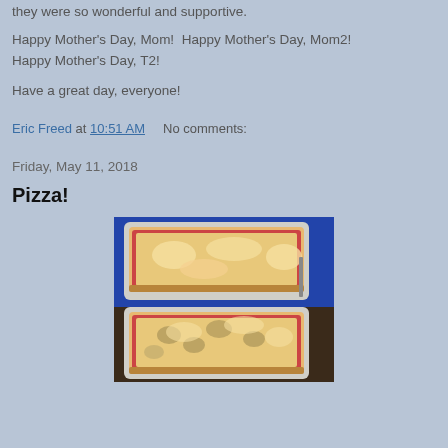they were so wonderful and supportive.
Happy Mother's Day, Mom!  Happy Mother's Day, Mom2!  Happy Mother's Day, T2!
Have a great day, everyone!
Eric Freed at 10:51 AM    No comments:
Friday, May 11, 2018
Pizza!
[Figure (photo): Two rectangular trays of pizza on a dark wooden table. The top tray shows a cheese pizza and the bottom tray shows a pizza with mushrooms and other toppings.]